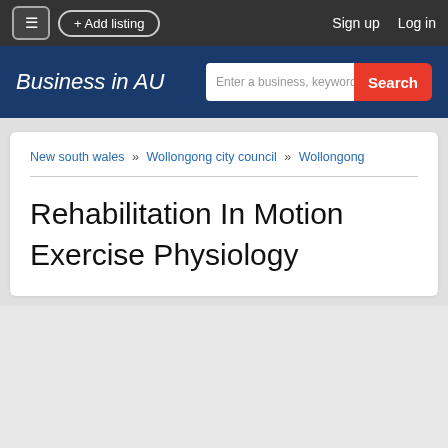≡  + Add listing    Sign up   Log in
Business in AU
New south wales » Wollongong city council » Wollongong
Rehabilitation In Motion Exercise Physiology